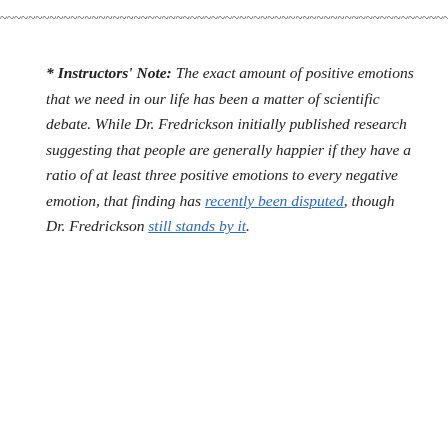~~~~~~~~~~~~~~~~~~~~~~~~~~~~~~~~~~~~~~~~~~~~~~~~~~~~~~~~~~~~~~~~~~~~~~~~~~~~~~~~
* Instructors' Note: The exact amount of positive emotions that we need in our life has been a matter of scientific debate. While Dr. Fredrickson initially published research suggesting that people are generally happier if they have a ratio of at least three positive emotions to every negative emotion, that finding has recently been disputed, though Dr. Fredrickson still stands by it.